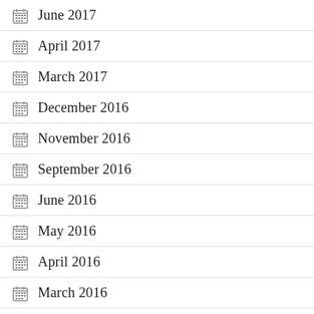June 2017
April 2017
March 2017
December 2016
November 2016
September 2016
June 2016
May 2016
April 2016
March 2016